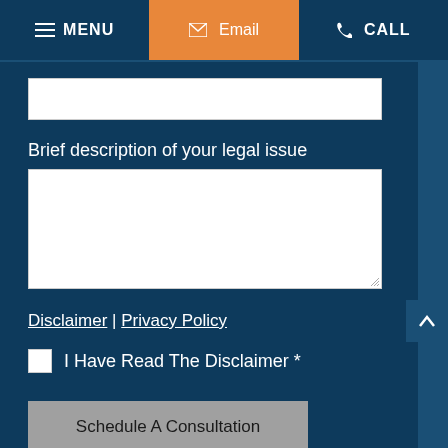MENU | Email | CALL
Brief description of your legal issue
Disclaimer | Privacy Policy
I Have Read The Disclaimer *
Schedule A Consultation